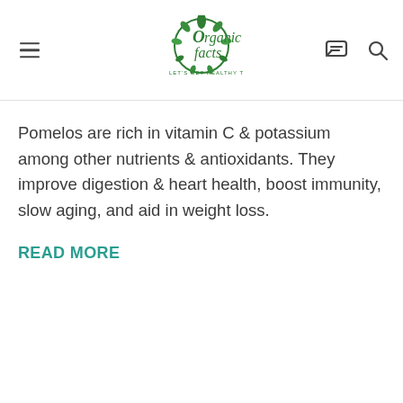Organic Facts — LET'S GET HEALTHY TOGETHER
Pomelos are rich in vitamin C & potassium among other nutrients & antioxidants. They improve digestion & heart health, boost immunity, slow aging, and aid in weight loss.
READ MORE